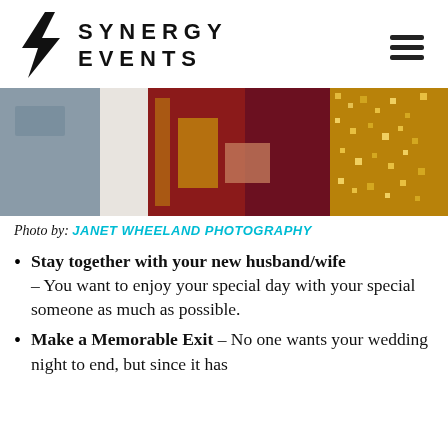[Figure (logo): Synergy Events logo with lightning bolt S icon and bold spaced text SYNERGY EVENTS]
[Figure (photo): Wedding photo showing couple in traditional Indian attire — red and maroon clothing with gold embroidery, gold sequined backdrop on right]
Photo by: JANET WHEELAND PHOTOGRAPHY
Stay together with your new husband/wife – You want to enjoy your special day with your special someone as much as possible.
Make a Memorable Exit – No one wants your wedding night to end, but since it has